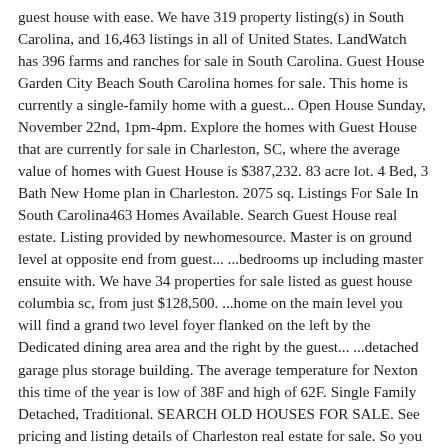guest house with ease. We have 319 property listing(s) in South Carolina, and 16,463 listings in all of United States. LandWatch has 396 farms and ranches for sale in South Carolina. Guest House Garden City Beach South Carolina homes for sale. This home is currently a single-family home with a guest... Open House Sunday, November 22nd, 1pm-4pm. Explore the homes with Guest House that are currently for sale in Charleston, SC, where the average value of homes with Guest House is $387,232. 83 acre lot. 4 Bed, 3 Bath New Home plan in Charleston. 2075 sq. Listings For Sale In South Carolina463 Homes Available. Search Guest House real estate. Listing provided by newhomesource. Master is on ground level at opposite end from guest... ...bedrooms up including master ensuite with. We have 34 properties for sale listed as guest house columbia sc, from just $128,500. ...home on the main level you will find a grand two level foyer flanked on the left by the Dedicated dining area area and the right by the guest... ...detached garage plus storage building. The average temperature for Nexton this time of the year is low of 38F and high of 62F. Single Family Detached, Traditional. SEARCH OLD HOUSES FOR SALE. See pricing and listing details of Charleston real estate for sale. So you are looking for homes with guest house in Greenville, SC? 3 Bed, 2 Bath New Home plan in Greer, SC. Find your perfect home in South Carolina on ForSaleByOwner.com. 3916 Willow Pointe Ln. Crawl space. Kitchen has tons of cabinet and counter (qua. This is a gorgeous 4 bedroom 2 bathroom home located on a. View listing